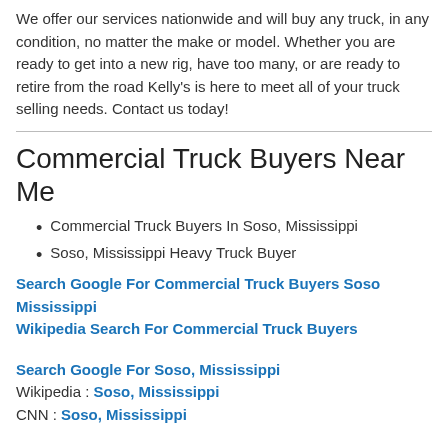We offer our services nationwide and will buy any truck, in any condition, no matter the make or model. Whether you are ready to get into a new rig, have too many, or are ready to retire from the road Kelly's is here to meet all of your truck selling needs. Contact us today!
Commercial Truck Buyers Near Me
Commercial Truck Buyers In Soso, Mississippi
Soso, Mississippi Heavy Truck Buyer
Search Google For Commercial Truck Buyers Soso Mississippi
Wikipedia Search For Commercial Truck Buyers
Search Google For Soso, Mississippi
Wikipedia : Soso, Mississippi
CNN : Soso, Mississippi